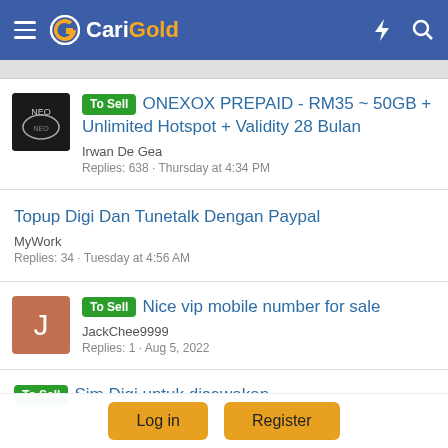CariGold
To Sell ONEXOX PREPAID - RM35 ~ 50GB + Unlimited Hotspot + Validity 28 Bulan
Irwan De Gea
Replies: 638 · Thursday at 4:34 PM
Topup Digi Dan Tunetalk Dengan Paypal
MyWork
Replies: 34 · Tuesday at 4:56 AM
To Sell Nice vip mobile number for sale
JackChee9999
Replies: 1 · Aug 5, 2022
To Sell Sim Digi untuk disewakan